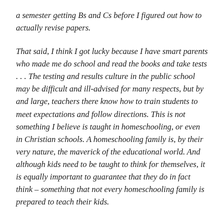a semester getting Bs and Cs before I figured out how to actually revise papers.
That said, I think I got lucky because I have smart parents who made me do school and read the books and take tests . . . The testing and results culture in the public school may be difficult and ill-advised for many respects, but by and large, teachers there know how to train students to meet expectations and follow directions. This is not something I believe is taught in homeschooling, or even in Christian schools. A homeschooling family is, by their very nature, the maverick of the educational world. And although kids need to be taught to think for themselves, it is equally important to guarantee that they do in fact think – something that not every homeschooling family is prepared to teach their kids.